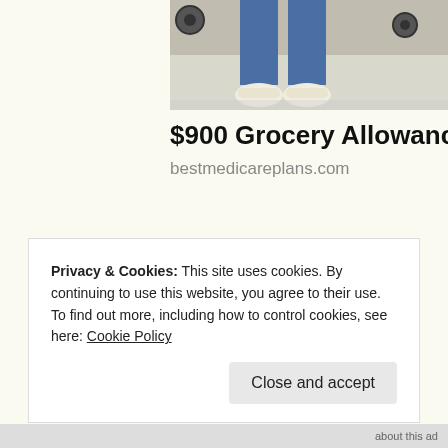[Figure (photo): Cropped photo showing legs and feet of a person wearing jeans and white sneakers, standing near a shopping cart wheel on a light-colored floor.]
$900 Grocery Allowance For Seni
bestmedicareplans.com
Privacy & Cookies: This site uses cookies. By continuing to use this website, you agree to their use.
To find out more, including how to control cookies, see here: Cookie Policy
Close and accept
about this ad